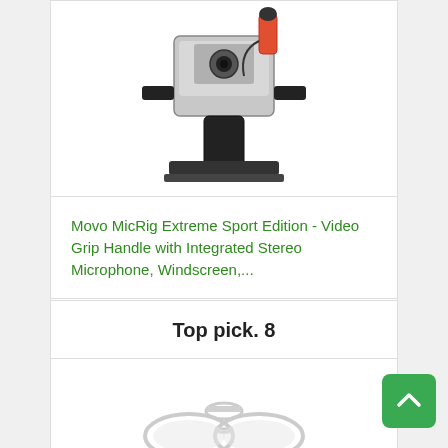[Figure (photo): Product photo of Movo MicRig Extreme Sport Edition video grip handle with microphone and accessories]
Movo MicRig Extreme Sport Edition - Video Grip Handle with Integrated Stereo Microphone, Windscreen,...
Price:
View on Amazon
Top pick. 8
[Figure (photo): Product photo partially visible at bottom - appears to be glasses or headphone product]